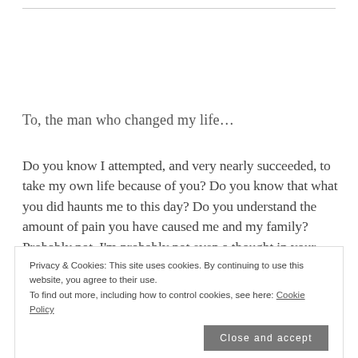To, the man who changed my life…
Do you know I attempted, and very nearly succeeded, to take my own life because of you? Do you know that what you did haunts me to this day? Do you understand the amount of pain you have caused me and my family? Probably not. I'm probably not even a thought in your mind. But you, you
Privacy & Cookies: This site uses cookies. By continuing to use this website, you agree to their use.
To find out more, including how to control cookies, see here: Cookie Policy
your mouth. Words that you never thought would be